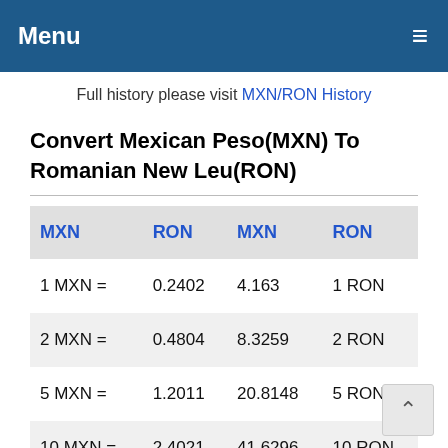Menu ≡
Full history please visit MXN/RON History
Convert Mexican Peso(MXN) To Romanian New Leu(RON)
| MXN | RON | MXN | RON |
| --- | --- | --- | --- |
| 1 MXN = | 0.2402 | 4.163 | 1 RON |
| 2 MXN = | 0.4804 | 8.3259 | 2 RON |
| 5 MXN = | 1.2011 | 20.8148 | 5 RON |
| 10 MXN = | 2.4021 | 41.6296 | 10 RON |